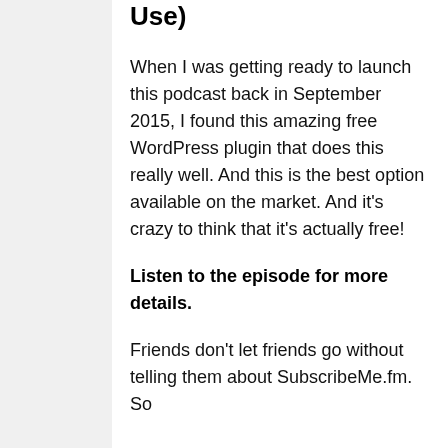Use)
When I was getting ready to launch this podcast back in September 2015, I found this amazing free WordPress plugin that does this really well. And this is the best option available on the market. And it's crazy to think that it's actually free!
Listen to the episode for more details.
Friends don't let friends go without telling them about SubscribeMe.fm. So